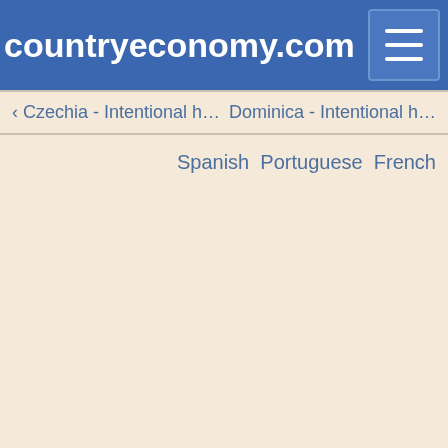countryeconomy.com
‹ Czechia - Intentional h…    Dominica - Intentional h…
Spanish Portuguese French